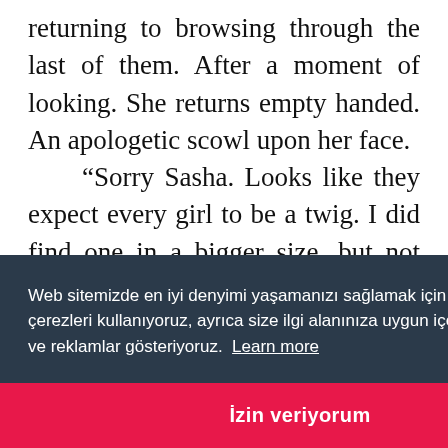returning to browsing through the last of them. After a moment of looking. She returns empty handed. An apologetic scowl upon her face.
“Sorry Sasha. Looks like they expect every girl to be a twig. I did find one in a bigger size, but not only would it drown you. Its …s are …t her …bigger …world …n the recent years they have started coming out
Web sitemizde en iyi denyimi yaşamanızı sağlamak için çerezleri kullanıyoruz, ayrıca size ilgi alanınıza uygun içerik ve reklamlar gösteriyoruz. Learn more
İzin veriyorum